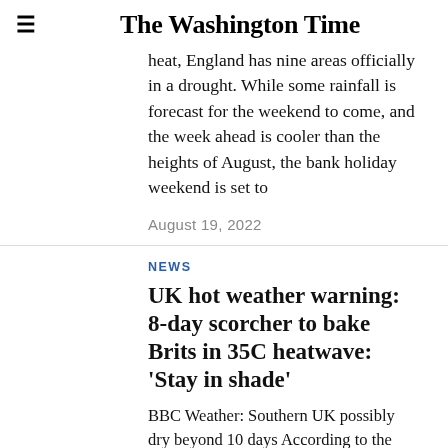The Washington Time
heat, England has nine areas officially in a drought. While some rainfall is forecast for the weekend to come, and the week ahead is cooler than the heights of August, the bank holiday weekend is set to
August 19, 2022
NEWS
UK hot weather warning: 8-day scorcher to bake Brits in 35C heatwave: 'Stay in shade'
BBC Weather: Southern UK possibly dry beyond 10 days According to the Met Office, the UK's heatwave threshold means areas need to see high heat for at